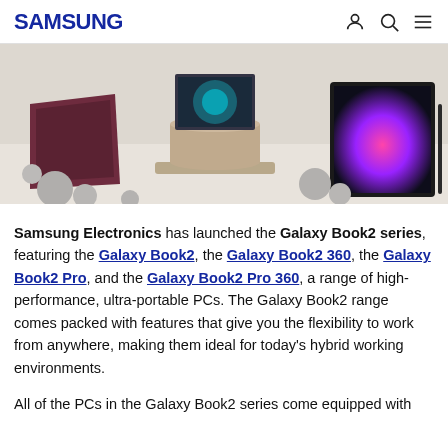SAMSUNG
[Figure (photo): Product photo showing multiple Samsung Galaxy Book2 laptops and tablets arranged on a light beige surface with decorative spheres. Devices shown include a burgundy/maroon colored laptop, a gold/champagne laptop on a cylindrical stand, and a tablet in landscape mode with a colorful display.]
Samsung Electronics has launched the Galaxy Book2 series, featuring the Galaxy Book2, the Galaxy Book2 360, the Galaxy Book2 Pro, and the Galaxy Book2 Pro 360, a range of high-performance, ultra-portable PCs. The Galaxy Book2 range comes packed with features that give you the flexibility to work from anywhere, making them ideal for today's hybrid working environments.
All of the PCs in the Galaxy Book2 series come equipped with